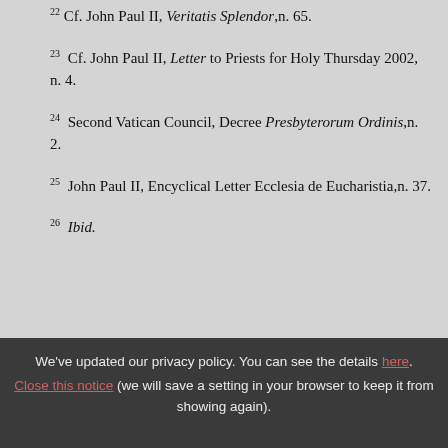22 Cf. John Paul II, Veritatis Splendor, n. 65.
23 Cf. John Paul II, Letter to Priests for Holy Thursday 2002, n. 4.
24 Second Vatican Council, Decree Presbyterorum Ordinis, n. 2.
25 John Paul II, Encyclical Letter Ecclesia de Eucharistia, n. 37.
26 Ibid.
We've updated our privacy policy. You can see the details here. Close this notice (we will save a setting in your browser to keep it from showing again).